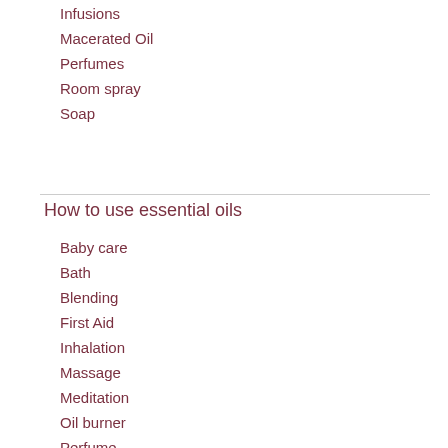Infusions
Macerated Oil
Perfumes
Room spray
Soap
How to use essential oils
Baby care
Bath
Blending
First Aid
Inhalation
Massage
Meditation
Oil burner
Perfume
Safety
Self-Care
Shower
Travel